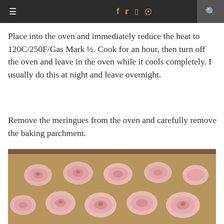≡  f  🐦  📷  𝐩  🔍
Place into the oven and immediately reduce the heat to 120C/250F/Gas Mark ½. Cook for an hour, then turn off the oven and leave in the oven while it cools completely. I usually do this at night and leave overnight.
Remove the meringues from the oven and carefully remove the baking parchment.
[Figure (photo): Photo of pink swirled meringues arranged on a baking parchment sheet on a dark baking tray, viewed from above at an angle.]